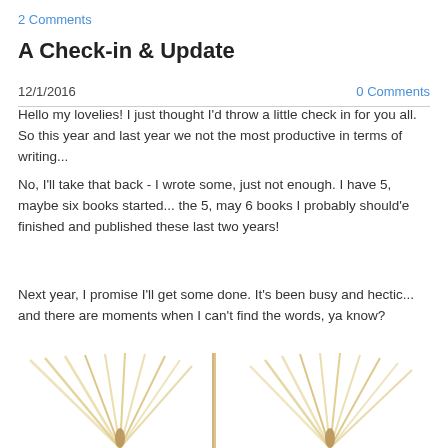2 Comments
A Check-in & Update
12/1/2016
0 Comments
Hello my lovelies! I just thought I'd throw a little check in for you all. So this year and last year we not the most productive in terms of writing...
No, I'll take that back - I wrote some, just not enough. I have 5, maybe six books started... the 5, may 6 books I probably should'e finished and published these last two years!
Next year, I promise I'll get some done. It's been busy and hectic... and there are moments when I can't find the words, ya know?
[Figure (photo): Two open books fanned out, pages spread, photographed from above on a white background]